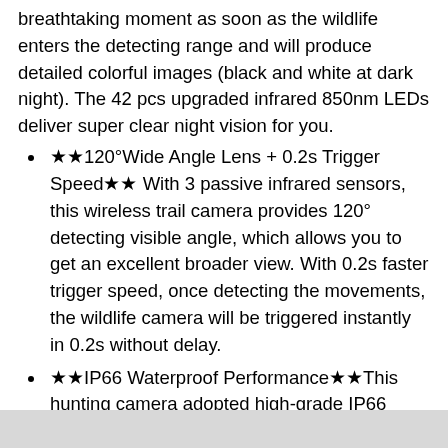breathtaking moment as soon as the wildlife enters the detecting range and will produce detailed colorful images (black and white at dark night). The 42 pcs upgraded infrared 850nm LEDs deliver super clear night vision for you.
★★120°Wide Angle Lens + 0.2s Trigger Speed★★ With 3 passive infrared sensors, this wireless trail camera provides 120° detecting visible angle, which allows you to get an excellent broader view. With 0.2s faster trigger speed, once detecting the movements, the wildlife camera will be triggered instantly in 0.2s without delay.
★★IP66 Waterproof Performance★★This hunting camera adopted high-grade IP66 materials to prevent being damaged from rain scouring under long-term exposure. With a threaded tripod and mounting strap included, which makes it sturdier than other competitors.